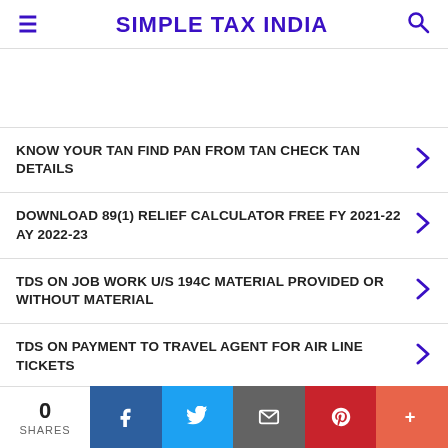SIMPLE TAX INDIA
KNOW YOUR TAN FIND PAN FROM TAN CHECK TAN DETAILS
DOWNLOAD 89(1) RELIEF CALCULATOR FREE FY 2021-22 AY 2022-23
TDS ON JOB WORK U/S 194C MATERIAL PROVIDED OR WITHOUT MATERIAL
TDS ON PAYMENT TO TRAVEL AGENT FOR AIR LINE TICKETS
0 SHARES | Facebook | Twitter | Email | Pinterest | More